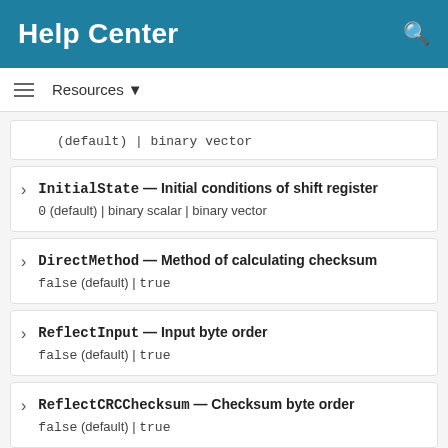Help Center
Resources ▼
(default) | binary vector
InitialState — Initial conditions of shift register
0 (default) | binary scalar | binary vector
DirectMethod — Method of calculating checksum
false (default) | true
ReflectInput — Input byte order
false (default) | true
ReflectCRCChecksum — Checksum byte order
false (default) | true